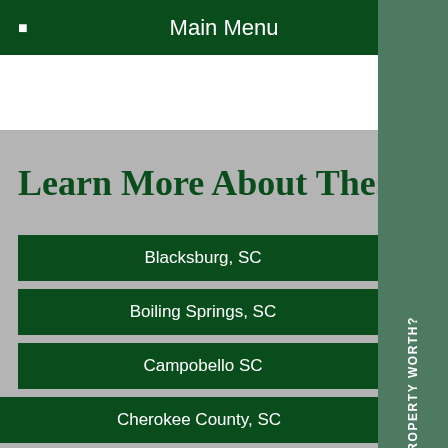Main Menu
Learn More About These Ar
Blacksburg, SC
Boiling Springs, SC
Campobello SC
Cherokee County, SC
Chesnee, SC
Chester County, SC
WHATS YOUR PROPERTY WORTH?